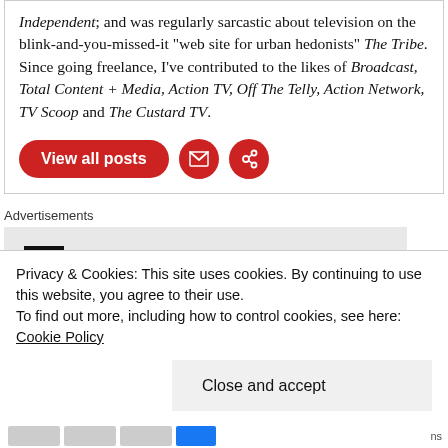Independent; and was regularly sarcastic about television on the blink-and-you-missed-it "web site for urban hedonists" The Tribe. Since going freelance, I've contributed to the likes of Broadcast, Total Content + Media, Action TV, Off The Telly, Action Network, TV Scoop and The Custard TV.
[Figure (other): Buttons row: red pill-shaped 'View all posts' button, red circular email icon button, red circular link icon button]
Advertisements
[Figure (logo): P2 logo: black square icon with white grid pattern beside bold text 'P2' on grey background advertisement box]
Privacy & Cookies: This site uses cookies. By continuing to use this website, you agree to their use.
To find out more, including how to control cookies, see here: Cookie Policy
Close and accept